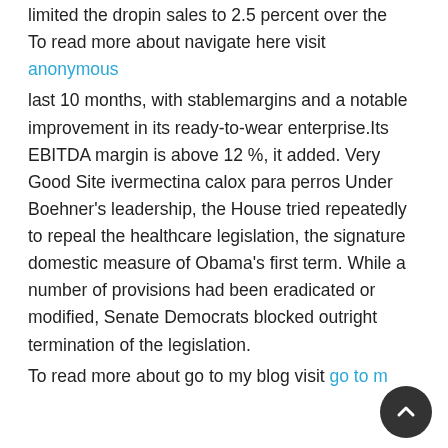limited the dropin sales to 2.5 percent over the
To read more about navigate here visit
anonymous
last 10 months, with stablemargins and a notable improvement in its ready-to-wear enterprise.Its EBITDA margin is above 12 %, it added. Very Good Site ivermectina calox para perros Under Boehner's leadership, the House tried repeatedly to repeal the healthcare legislation, the signature domestic measure of Obama's first term. While a number of provisions had been eradicated or modified, Senate Democrats blocked outright termination of the legislation.
To read more about go to my blog visit go to my